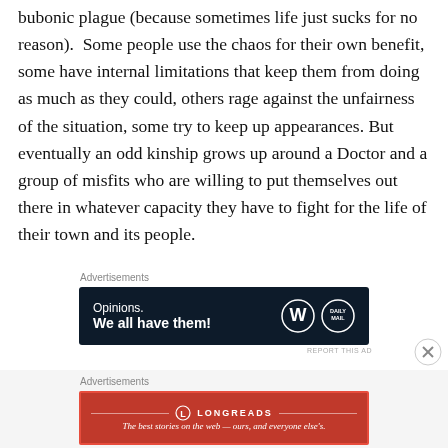bubonic plague (because sometimes life just sucks for no reason).  Some people use the chaos for their own benefit, some have internal limitations that keep them from doing as much as they could, others rage against the unfairness of the situation, some try to keep up appearances. But eventually an odd kinship grows up around a Doctor and a group of misfits who are willing to put themselves out there in whatever capacity they have to fight for the life of their town and its people.
[Figure (other): Advertisement banner with dark navy background showing 'Opinions. We all have them!' with WordPress and Daily Mail logos]
[Figure (other): Advertisement banner with red background showing Longreads logo and tagline 'The best stories on the web — ours, and everyone else's.']